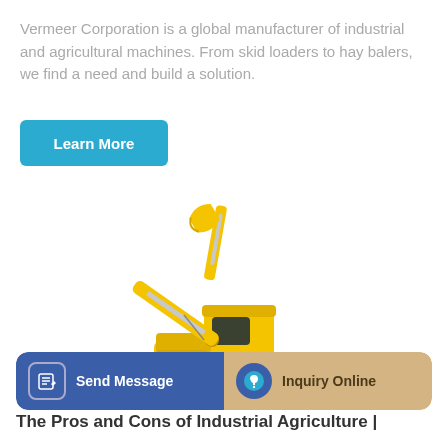Vermeer Corporation is a global manufacturer of industrial and agricultural machines. From skid loaders to hay balers, we find a need and build a solution.
[Figure (other): A teal/blue 'Learn More' button with rounded corners]
[Figure (photo): A yellow Komatsu excavator (construction machine) with extended arm and bucket, on white background]
[Figure (other): Bottom action bar with two sections: 'Send Message' (blue, with document edit icon) and 'Inquiry Online' (tan/gold, with headset icon)]
The Pros and Cons of Industrial Agriculture |